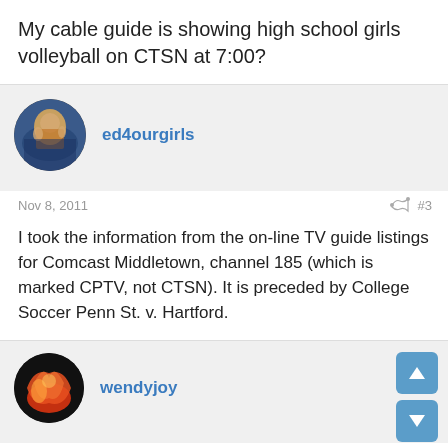My cable guide is showing high school girls volleyball on CTSN at 7:00?
ed4ourgirls
Nov 8, 2011   #3
I took the information from the on-line TV guide listings for Comcast Middletown, channel 185 (which is marked CPTV, not CTSN). It is preceded by College Soccer Penn St. v. Hartford.
wendyjoy
Nov 8, 2011   #4
ed4ourgirls said: